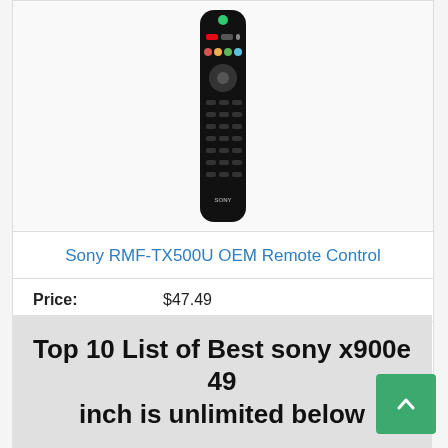[Figure (photo): Sony RMF-TX500U black TV remote control, tall and slim, with multiple buttons]
Sony RMF-TX500U OEM Remote Control
| Price: | $47.49 |
View Product
Top 10 List of Best sony x900e 49 inch is unlimited below